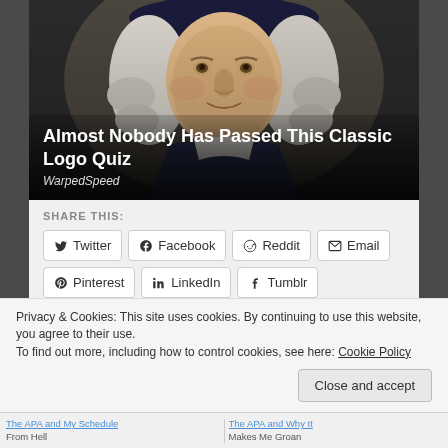[Figure (photo): Hero image of a historical Quaker-like figure (white wig, dark hat, colonial clothing) with white text overlay showing article title and source]
Almost Nobody Has Passed This Classic Logo Quiz
WarpedSpeed
SHARE THIS:
Twitter
Facebook
Reddit
Email
Pinterest
LinkedIn
Tumblr
Privacy & Cookies: This site uses cookies. By continuing to use this website, you agree to their use.
To find out more, including how to control cookies, see here: Cookie Policy
Close and accept
The APA and My Schedule From Hell
The APA and Why It Makes Me Groan